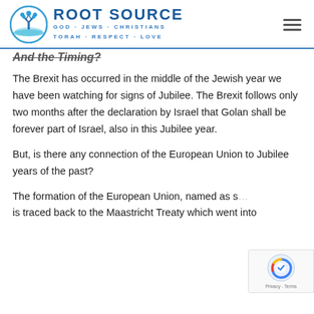ROOT SOURCE — GOD · JEWS · CHRISTIANS — TORAH · RESPECT · LOVE
And the Timing?
The Brexit has occurred in the middle of the Jewish year we have been watching for signs of Jubilee. The Brexit follows only two months after the declaration by Israel that Golan shall be forever part of Israel, also in this Jubilee year.
But, is there any connection of the European Union to Jubilee years of the past?
The formation of the European Union, named as s… is traced back to the Maastricht Treaty which went into